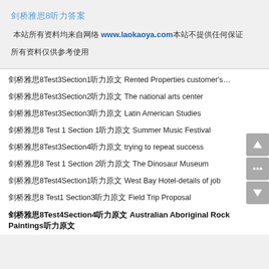剑桥雅思8听力答案
本站所有资料均来自网络 www.laokaoya.com 本站不提供任何保证
所有资料仅供参考使用
剑桥雅思8Test3Section1听力原文 Rented Properties customer's…
剑桥雅思8Test3Section2听力原文 The national arts center
剑桥雅思8Test3Section3听力原文 Latin American Studies
剑桥雅思8 Test 1 Section 1听力原文 Summer Music Festival
剑桥雅思8Test3Section4听力原文 trying to repeat success
剑桥雅思8 Test 1 Section 2听力原文 The Dinosaur Museum
剑桥雅思8Test4Section1听力原文 West Bay Hotel-details of job
剑桥雅思8 Test1 Section3听力原文 Field Trip Proposal
剑桥雅思8Test4Section4听力原文 Australian Aboriginal Rock Paintings听力原文